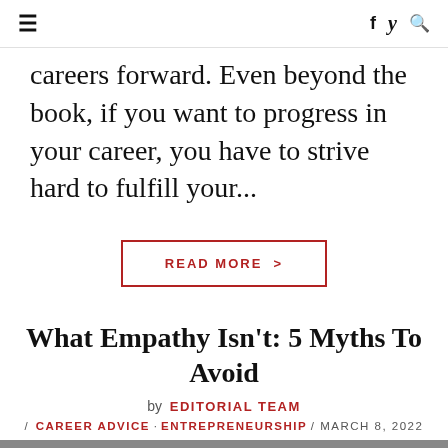≡  f  🐦  🔍
careers forward. Even beyond the book, if you want to progress in your career, you have to strive hard to fulfill your...
READ MORE >
What Empathy Isn't: 5 Myths To Avoid
by EDITORIAL TEAM
/ CAREER ADVICE · ENTREPRENEURSHIP / MARCH 8, 2022